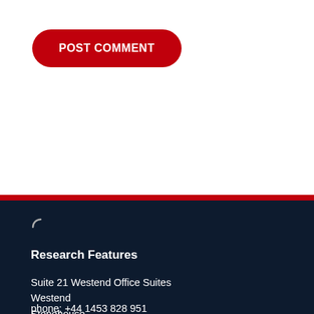POST COMMENT
[Figure (other): Loading spinner icon (arc shape)]
Research Features
Suite 21 Westend Office Suites
Westend
Stonehouse
Gloucestershire
GL10 3FA
phone: +44 1453 828 951